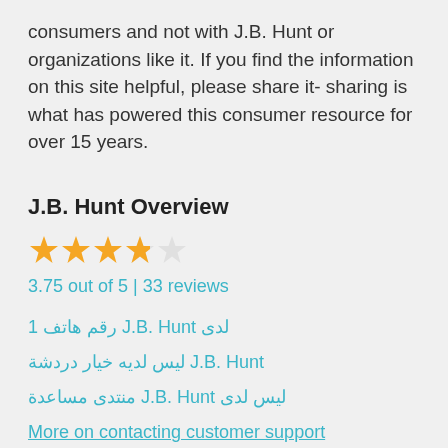consumers and not with J.B. Hunt or organizations like it. If you find the information on this site helpful, please share it- sharing is what has powered this consumer resource for over 15 years.
J.B. Hunt Overview
[Figure (other): Star rating: 3.75 out of 5, showing 4 stars (3 full, 1 three-quarter, 1 empty)]
3.75 out of 5 | 33 reviews
رقم هاتف 1 J.B. Hunt لدى
ليس لديه خيار دردشة J.B. Hunt
منتدى مساعدة J.B. Hunt ليس لدى
More on contacting customer support